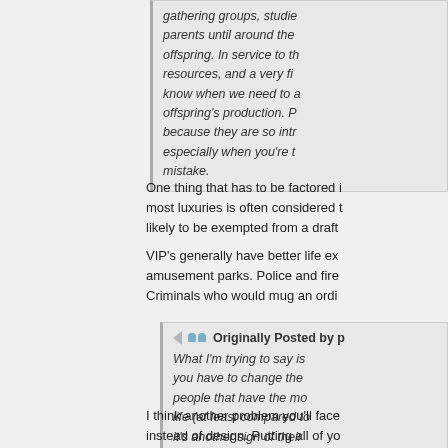gathering groups, studie... parents until around the... offspring. In service to th... resources, and a very fi... know when we need to a... offspring's production. P... because they are so intr... especially when you're t... mistake.
One thing that has to be factored ... most luxuries is often considered ... likely to be exempted from a draft...
VIP's generally have better life ex... amusement parks. Police and fire... Criminals who would mug an ordi...
Originally Posted by p...
What I'm trying to say is... you have to change the... people that have the mo... life (at least compared to... it's another sign of their...
I think another problem you'll face... instead of design. Putting all of yo... more times, by having more kids...